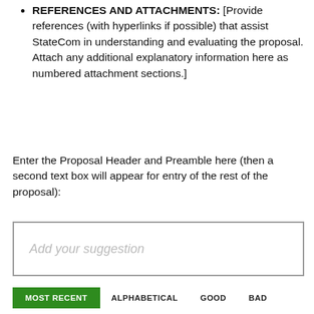REFERENCES AND ATTACHMENTS: [Provide references (with hyperlinks if possible) that assist StateCom in understanding and evaluating the proposal. Attach any additional explanatory information here as numbered attachment sections.]
Enter the Proposal Header and Preamble here (then a second text box will appear for entry of the rest of the proposal):
Add your suggestion
MOST RECENT   ALPHABETICAL   GOOD   BAD
IMPORTANT   EASY   IMPRACTICAL